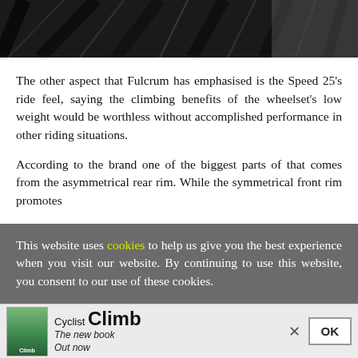[Figure (photo): Close-up photo of bicycle wheel spokes against a dark background, showing diagonal spoke lines.]
The other aspect that Fulcrum has emphasised is the Speed 25's ride feel, saying the climbing benefits of the wheelset's low weight would be worthless without accomplished performance in other riding situations.
According to the brand one of the biggest parts of that comes from the asymmetrical rear rim. While the symmetrical front rim promotes
This website uses cookies to help us give you the best experience when you visit our website. By continuing to use this website, you consent to our use of these cookies.
[Figure (illustration): Advertisement bar for Cyclist Climb book — shows book cover image, 'Cyclist Climb' branding, 'The new book Out now' tagline, a close (×) button, and an OK button.]